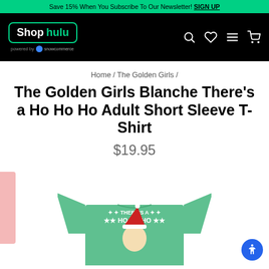Save 15% When You Subscribe To Our Newsletter! SIGN UP
[Figure (logo): Shop hulu logo with navigation icons on black background, powered by snowcommerce]
Home / The Golden Girls /
The Golden Girls Blanche There’s a Ho Ho Ho Adult Short Sleeve T-Shirt
$19.95
[Figure (photo): Green Christmas-themed t-shirt with text THERE'S A HO HO HO and a character wearing a Santa hat]